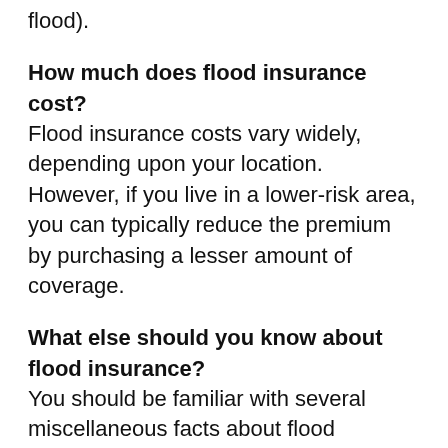flood).
How much does flood insurance cost?
Flood insurance costs vary widely, depending upon your location. However, if you live in a lower-risk area, you can typically reduce the premium by purchasing a lesser amount of coverage.
What else should you know about flood insurance?
You should be familiar with several miscellaneous facts about flood insurance. First, you can purchase flood insurance most any time if you live in a participating community (except when flood is imminent–i.e., an impending hurricane). You generally have a 30-day waiting period